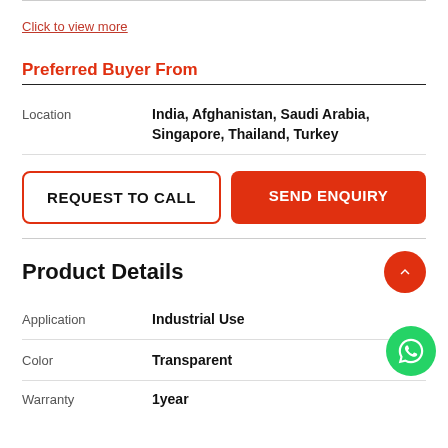Click to view more
Preferred Buyer From
|  |  |
| --- | --- |
| Location | India, Afghanistan, Saudi Arabia, Singapore, Thailand, Turkey |
REQUEST TO CALL
SEND ENQUIRY
Product Details
|  |  |
| --- | --- |
| Application | Industrial Use |
| Color | Transparent |
| Warranty | 1year |